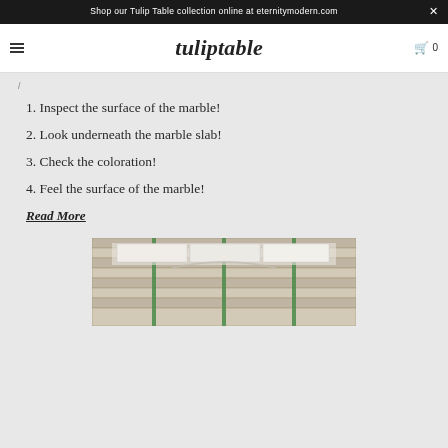Shop our Tulip Table collection online at eternitymodern.com
tuliptable
/
1. Inspect the surface of the marble!
2. Look underneath the marble slab!
3. Check the coloration!
4. Feel the surface of the marble!
Read More
[Figure (photo): Marble slabs in wooden crates with green strapping]